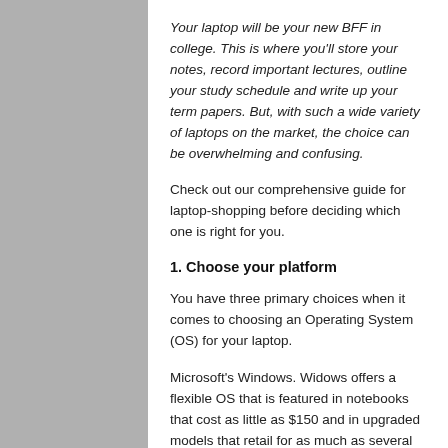Your laptop will be your new BFF in college. This is where you'll store your notes, record important lectures, outline your study schedule and write up your term papers. But, with such a wide variety of laptops on the market, the choice can be overwhelming and confusing.
Check out our comprehensive guide for laptop-shopping before deciding which one is right for you.
1. Choose your platform
You have three primary choices when it comes to choosing an Operating System (OS) for your laptop.
Microsoft's Windows. Widows offers a flexible OS that is featured in notebooks that cost as little as $150 and in upgraded models that retail for as much as several